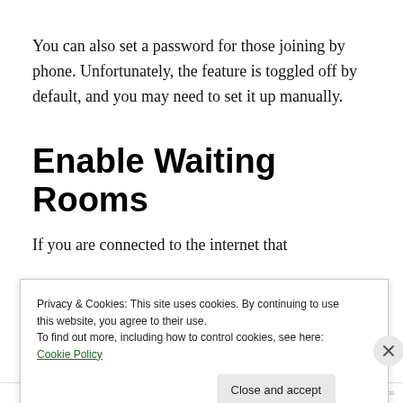You can also set a password for those joining by phone. Unfortunately, the feature is toggled off by default, and you may need to set it up manually.
Enable Waiting Rooms
Privacy & Cookies: This site uses cookies. By continuing to use this website, you agree to their use.
To find out more, including how to control cookies, see here: Cookie Policy